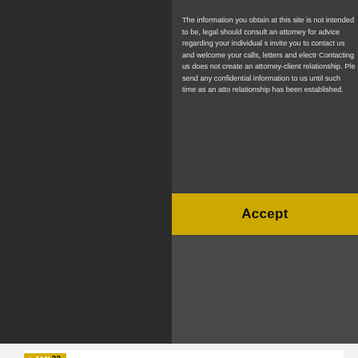The information you obtain at this site is not intended to be, legal should consult an attorney for advice regarding your individual s invite you to contact us and welcome your calls, letters and electr Contacting us does not create an attorney-client relationship. Ple send any confidential information to us until such time as an atto relationship has been established.
Accept
JAN 22
Crane Accidents Attorney: Injury Law...
Crane Accidents Attorney: Injury Lawyers: Cranes are a m you know has been injured in a crane accident. Approxin heavy pieces of machinery and supplies needed [...]